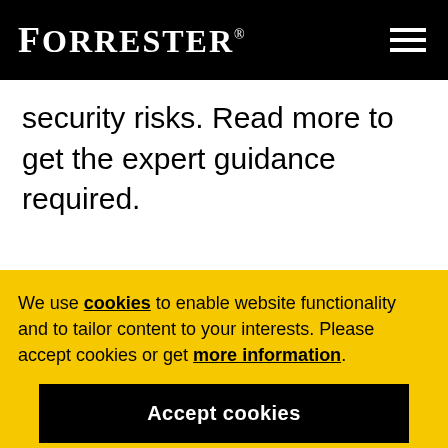FORRESTER®
security risks. Read more to get the expert guidance required.
We use cookies to enable website functionality and to tailor content to your interests. Please accept cookies or get more information.
Accept cookies